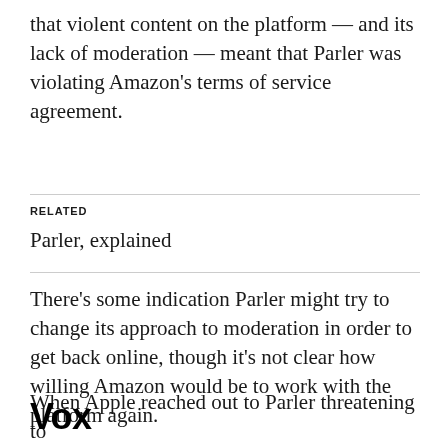that violent content on the platform — and its lack of moderation — meant that Parler was violating Amazon's terms of service agreement.
RELATED
Parler, explained
There's some indication Parler might try to change its approach to moderation in order to get back online, though it's not clear how willing Amazon would be to work with the platform again.
When Apple reached out to Parler threatening to
Vox